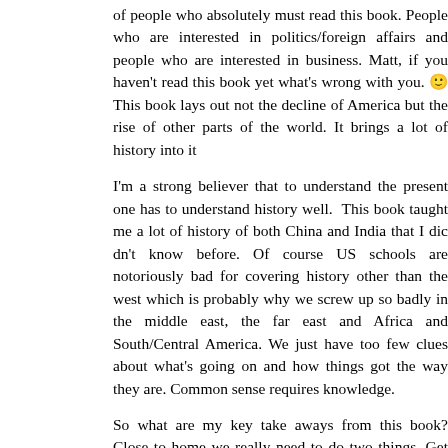of people who absolutely must read this book. People who are interested in politics/foreign affairs and people who are interested in business. Matt, if you haven't read this book yet what's wrong with you. 🙂 This book lays out not the decline of America but the rise of other parts of the world. It brings a lot of history into it...
I'm a strong believer that to understand the present one has to understand history well. This book taught me a lot of history of both China and India that I didn't know before. Of course US schools are notoriously bad for covering history other than the west which is probably why we screw up so badly in the middle east, the far east and Africa and South/Central America. We just have too few clues about what's going on and how things got the way they are. Common sense requires kno...
So what are my key take aways from this book? Close to home we really need to do two things. Get our energy house in order and get our schools in better shape. A greater level of energy independence would greatly increase our future development options. China and India are going to require a lot more oil and if we keep our current level of dependence on it prices are going to get higher. Education is the key to innovation and we are going to need that. Really our education system isn't as bad as a lot of the media would have us think – at least in the top students – but clearly we need to do better to stay competitive. We do a better job of teaching creative and critical thinking than the rest of the world but that edge is shrinking and we cannot afford that. And by golly we have to turn out more people who have a clue about the world outside our boarders.
Globally the growth of China and India can be a huge opportunity for us if we grasp it correctly. And as long as we keep our innovation lead. I tell you what if America needed a program like FIRST its now.
But I fear that too much of America, including its politicians and busin...